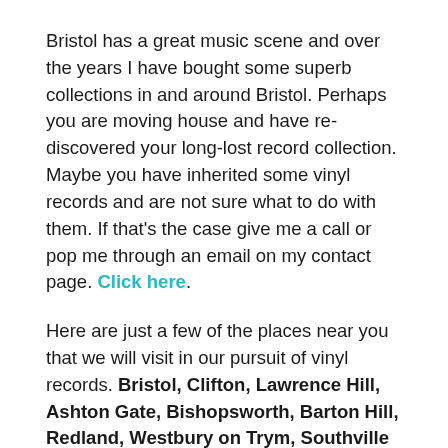Bristol has a great music scene and over the years I have bought some superb collections in and around Bristol. Perhaps you are moving house and have re-discovered your long-lost record collection. Maybe you have inherited some vinyl records and are not sure what to do with them. If that's the case give me a call or pop me through an email on my contact page. Click here.
Here are just a few of the places near you that we will visit in our pursuit of vinyl records. Bristol, Clifton, Lawrence Hill, Ashton Gate, Bishopsworth, Barton Hill, Redland, Westbury on Trym, Southville